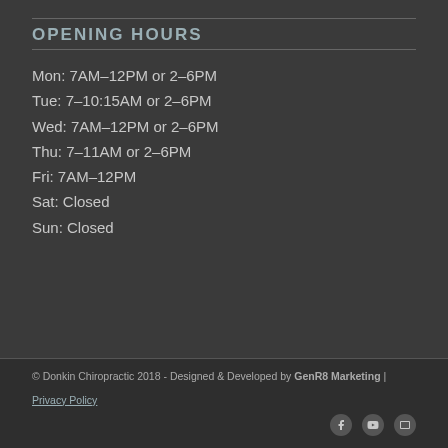OPENING HOURS
Mon: 7AM–12PM or 2–6PM
Tue: 7–10:15AM or 2–6PM
Wed: 7AM–12PM or 2–6PM
Thu: 7–11AM or 2–6PM
Fri: 7AM–12PM
Sat: Closed
Sun: Closed
© Donkin Chiropractic 2018 - Designed & Developed by GenR8 Marketing | Privacy Policy